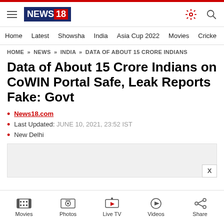NEWS18 — site header with navigation
HOME » NEWS » INDIA » DATA OF ABOUT 15 CRORE INDIANS
Data of About 15 Crore Indians on CoWIN Portal Safe, Leak Reports Fake: Govt
News18.com
Last Updated: JUNE 10, 2021, 23:52 IST
New Delhi
Movies | Photos | Live TV | Videos | Share